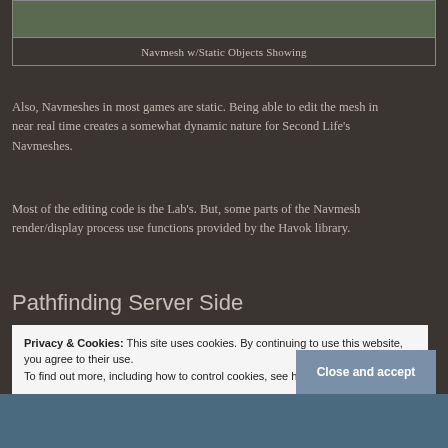[Figure (screenshot): Navmesh screenshot showing static objects]
Navmesh w/Static Objects Showing
Also, Navmeshes in most games are static. Being able to edit the mesh in near real time creates a somewhat dynamic nature for Second Life’s Navmeshes.
Most of the editing code is the Lab’s. But, some parts of the Navmesh render/display process use functions provided by the Havok library.
Pathfinding Server Side
Actual Pathfinding is done in the SL region servers using Havok’s highly optimized pathfinding and collision detection. Changes to
Privacy & Cookies: This site uses cookies. By continuing to use this website, you agree to their use.
To find out more, including how to control cookies, see here: Cookie Policy
Close and accept